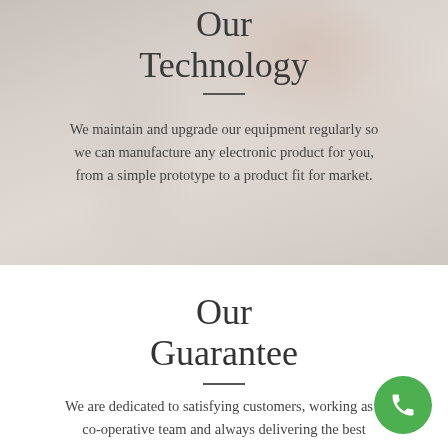[Figure (photo): Background photo of hands working with electronic components or laboratory equipment on a white surface, muted pink/grey tones]
Our Technology
We maintain and upgrade our equipment regularly so we can manufacture any electronic product for you, from a simple prototype to a product fit for market.
Our Guarantee
We are dedicated to satisfying customers, working as a co-operative team and always delivering the best